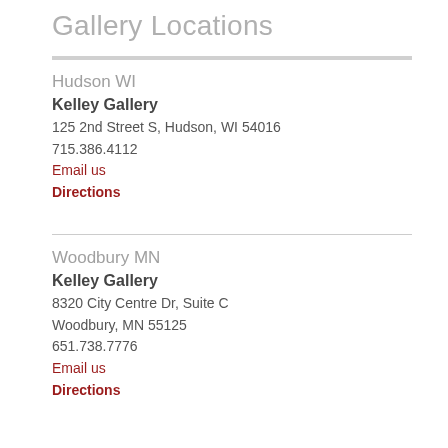Gallery Locations
Hudson WI
Kelley Gallery
125 2nd Street S, Hudson, WI 54016
715.386.4112
Email us
Directions
Woodbury MN
Kelley Gallery
8320 City Centre Dr, Suite C
Woodbury, MN 55125
651.738.7776
Email us
Directions